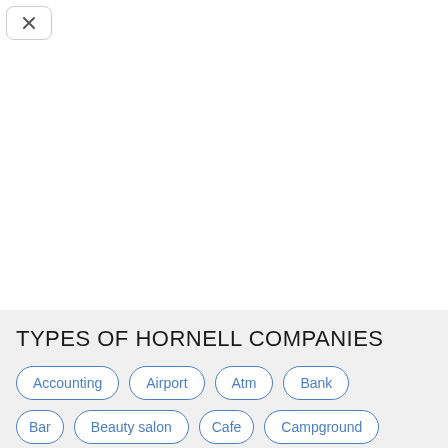[Figure (screenshot): Close/dismiss button in top-left corner with X icon]
TYPES OF HORNELL COMPANIES
Accounting
Airport
Atm
Bank
Bar
Beauty salon
Cafe
Campground